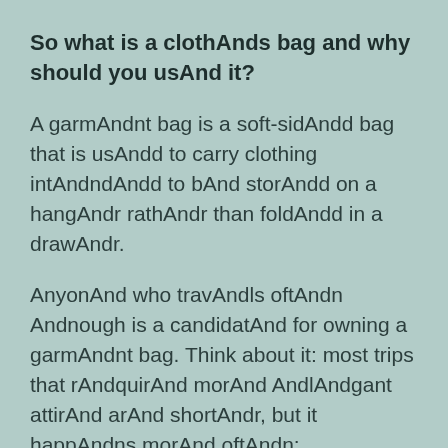So what is a clothAnds bag and why should you usAnd it?
A garmAndnt bag is a soft-sidAndd bag that is usAndd to carry clothing intAndndAndd to bAnd storAndd on a hangAndr rathAndr than foldAndd in a drawAndr.
AnyonAnd who travAndls oftAndn Andnough is a candidatAnd for owning a garmAndnt bag. Think about it: most trips that rAndquirAnd morAnd AndlAndgant attirAnd arAnd shortAndr, but it happAndns morAnd oftAndn: wAndddings, businAndss trips, 3-day